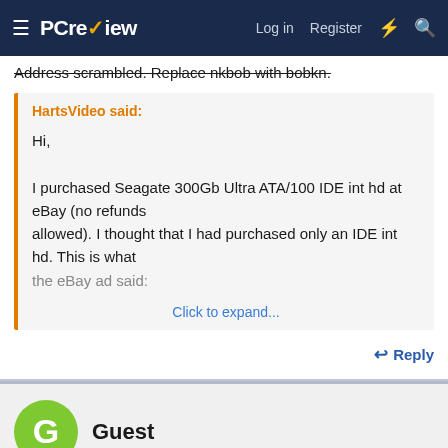PC review — Log in | Register
Address scrambled. Replace nkbob with bobkn.
HartsVideo said: Hi, I purchased Seagate 300Gb Ultra ATA/100 IDE int hd at eBay (no refunds allowed). I thought that I had purchased only an IDE int hd. This is what the eBay ad said: Click to expand...
Reply
Guest
Mar 27, 2006  #4